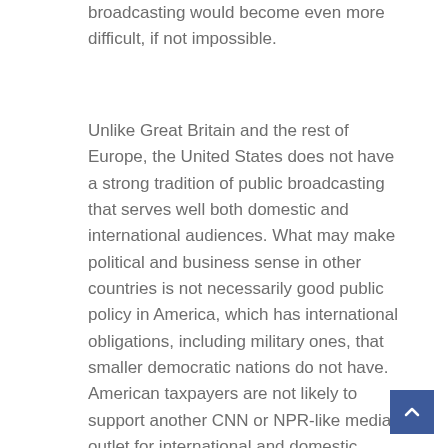broadcasting would become even more difficult, if not impossible.
Unlike Great Britain and the rest of Europe, the United States does not have a strong tradition of public broadcasting that serves well both domestic and international audiences. What may make political and business sense in other countries is not necessarily good public policy in America, which has international obligations, including military ones, that smaller democratic nations do not have. American taxpayers are not likely to support another CNN or NPR-like media outlet for international and domestic audiences, which is what the Voice America might become under the de-federalization plan. It is hard to imagine what a corporate VOA would represent to those abroad who seek not just uncensored news but primarily